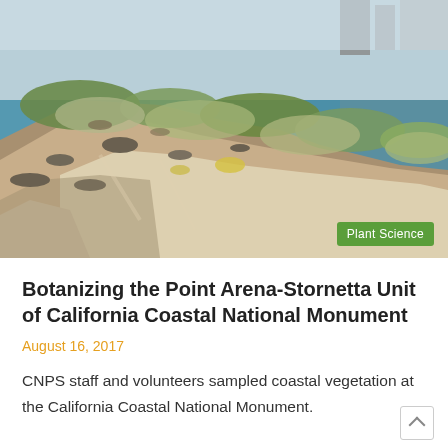[Figure (photo): Coastal cliffs with rocky outcrops, ocean water, and green vegetation including shrubs and wildflowers. Industrial structures visible at top right. California coastal scenery.]
Plant Science
Botanizing the Point Arena-Stornetta Unit of California Coastal National Monument
August 16, 2017
CNPS staff and volunteers sampled coastal vegetation at the California Coastal National Monument.